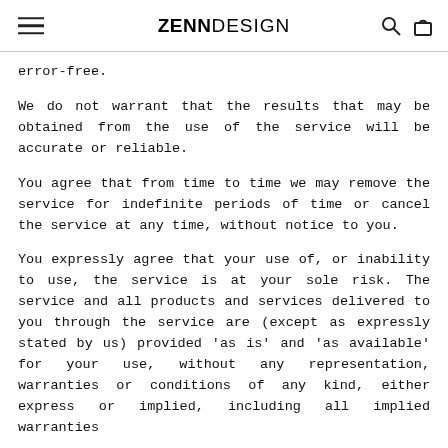ZENNDESIGN
error-free.
We do not warrant that the results that may be obtained from the use of the service will be accurate or reliable.
You agree that from time to time we may remove the service for indefinite periods of time or cancel the service at any time, without notice to you.
You expressly agree that your use of, or inability to use, the service is at your sole risk. The service and all products and services delivered to you through the service are (except as expressly stated by us) provided 'as is' and 'as available' for your use, without any representation, warranties or conditions of any kind, either express or implied, including all implied warranties